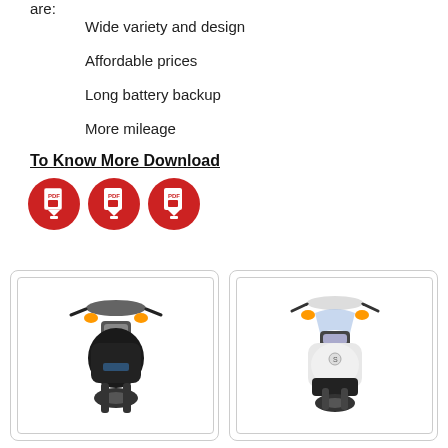are:
Wide variety and design
Affordable prices
Long battery backup
More mileage
To Know More Download
[Figure (illustration): Three red circular PDF download icons side by side]
[Figure (photo): Two scooter/motorcycle front-view photos in bordered cards: left is dark/black colored scooter, right is white colored scooter]